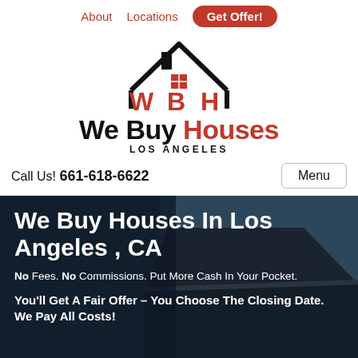About   Locations   Get Offer!
[Figure (logo): WBH We Buy Houses Los Angeles logo with house/roof icon in black and red]
Call Us! 661-618-6622
Menu
We Buy Houses In Los Angeles , CA
No Fees. No Commissions. Put More Cash In Your Pocket.
You'll Get A Fair Offer – You Choose The Closing Date. We Pay All Costs!